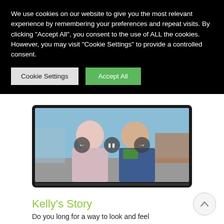We use cookies on our website to give you the most relevant experience by remembering your preferences and repeat visits. By clicking "Accept All", you consent to the use of ALL the cookies. However, you may visit "Cookie Settings" to provide a controlled consent.
Cookie Settings
Accept All
[Figure (photo): Two smiling people in athletic wear (pink and blue jackets) posing together outdoors at what appears to be a race or athletic event. Navigation arrows and a pause button are overlaid on the image.]
Kelly's Story
Do you long for a way to look and feel